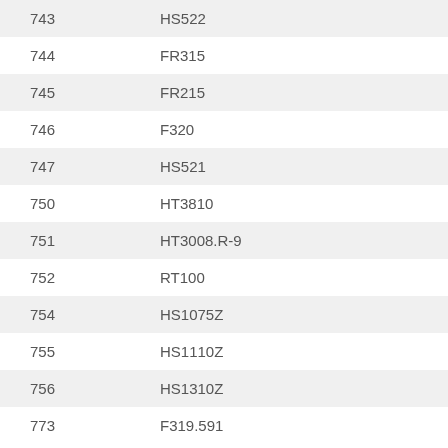| 743 | HS522 |
| 744 | FR315 |
| 745 | FR215 |
| 746 | F320 |
| 747 | HS521 |
| 750 | HT3810 |
| 751 | HT3008.R-9 |
| 752 | RT100 |
| 754 | HS1075Z |
| 755 | HS1110Z |
| 756 | HS1310Z |
| 773 | F319.591 |